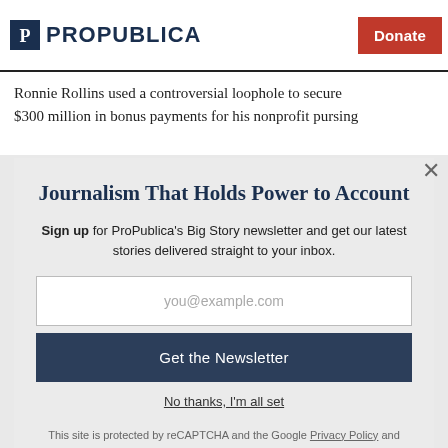ProPublica — Donate
Ronnie Rollins used a controversial loophole to secure $300 million in bonus payments for his nonprofit pursing
Journalism That Holds Power to Account
Sign up for ProPublica's Big Story newsletter and get our latest stories delivered straight to your inbox.
you@example.com
Get the Newsletter
No thanks, I'm all set
This site is protected by reCAPTCHA and the Google Privacy Policy and Terms of Service apply.